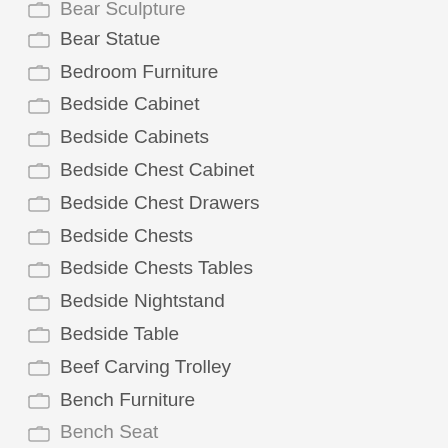Bear Sculpture
Bear Statue
Bedroom Furniture
Bedside Cabinet
Bedside Cabinets
Bedside Chest Cabinet
Bedside Chest Drawers
Bedside Chests
Bedside Chests Tables
Bedside Nightstand
Bedside Table
Beef Carving Trolley
Bench Furniture
Bench Seat